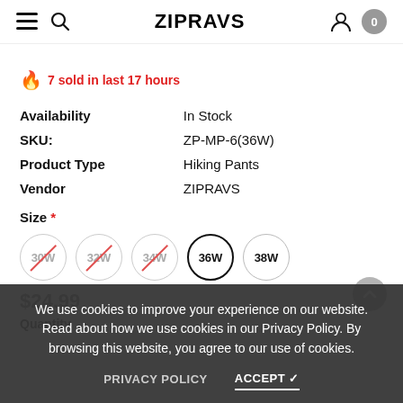ZIPRAVS
🔥 7 sold in last 17 hours
| Availability | In Stock |
| SKU: | ZP-MP-6(36W) |
| Product Type | Hiking Pants |
| Vendor | ZIPRAVS |
Size *
30W 32W 34W 36W (selected) 38W
$24.99
Quantity
We use cookies to improve your experience on our website. Read about how we use cookies in our Privacy Policy. By browsing this website, you agree to our use of cookies.
PRIVACY POLICY   ACCEPT ✓